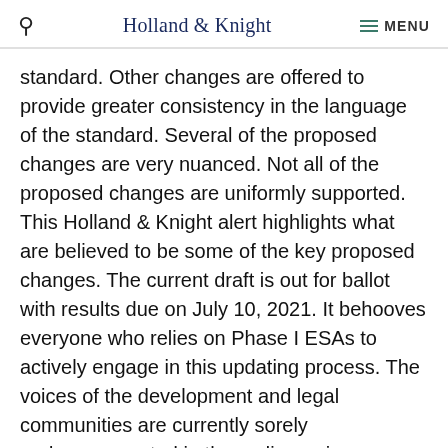Holland & Knight  MENU
standard. Other changes are offered to provide greater consistency in the language of the standard. Several of the proposed changes are very nuanced. Not all of the proposed changes are uniformly supported. This Holland & Knight alert highlights what are believed to be some of the key proposed changes. The current draft is out for ballot with results due on July 10, 2021. It behooves everyone who relies on Phase I ESAs to actively engage in this updating process. The voices of the development and legal communities are currently sorely underrepresented in these discussions.
Nuanced Changes to the Definition of REC